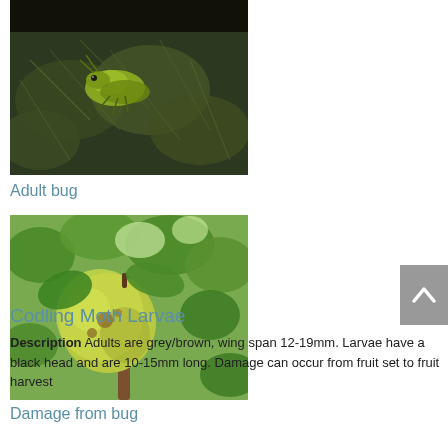[Figure (photo): Close-up photo of an adult bug (green/yellow insect) on a plant with feathery/mossy foliage, dark background]
Adult bug
[Figure (photo): Photo of a green apple or fruit on a tree branch with leaves, showing damage from a bug]
Damage from bug
Codling Moth Larvae
Description Adults are grey/brown, wing span 12-19mm. Larvae have a black head and are 10-15mm long. Damage can occur from fruit set to fruit harvest